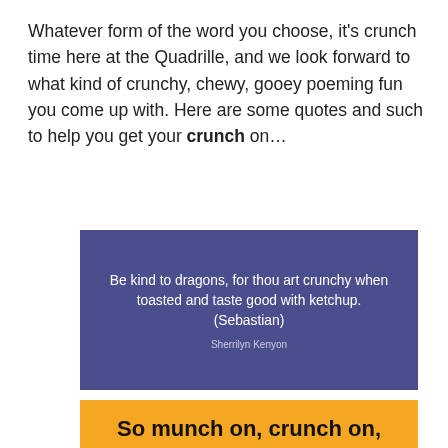Whatever form of the word you choose, it's crunch time here at the Quadrille, and we look forward to what kind of crunchy, chewy, gooey poeming fun you come up with. Here are some quotes and such to help you get your crunch on…
[Figure (illustration): Dark blue/indigo background quote card with white text: 'Be kind to dragons, for thou art crunchy when toasted and taste good with ketchup. (Sebastian)' and attribution 'Sherrilyn Kenyon' in lighter smaller text.]
[Figure (illustration): Yellow/golden background quote card with bold black text beginning: 'So munch on, crunch on, take your nuncheon, / Breakfast,' (text cut off at bottom).]